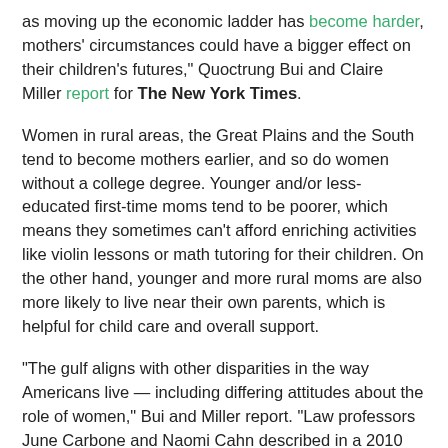as moving up the economic ladder has become harder, mothers' circumstances could have a bigger effect on their children's futures," Quoctrung Bui and Claire Miller report for The New York Times.
Women in rural areas, the Great Plains and the South tend to become mothers earlier, and so do women without a college degree. Younger and/or less-educated first-time moms tend to be poorer, which means they sometimes can't afford enriching activities like violin lessons or math tutoring for their children. On the other hand, younger and more rural moms are also more likely to live near their own parents, which is helpful for child care and overall support.
"The gulf aligns with other disparities in the way Americans live — including differing attitudes about the role of women," Bui and Miller report. "Law professors June Carbone and Naomi Cahn described in a 2010 book how red and blue families were living different lives. The biggest differentiating factor, they said, was the age that mothers had children. Young mothers are more likely to be conservative and religious, to value traditional gender roles and to reject